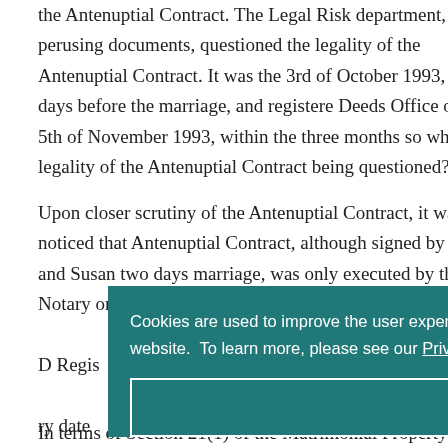the Antenuptial Contract. The Legal Risk department, after perusing documents, questioned the legality of the Antenuptial Contract. It was the 3rd of October 1993, two days before the marriage, and registered Deeds Office on the 5th of November 1993, within the three months so why is the legality of the Antenuptial Contract being questioned?
Upon closer scrutiny of the Antenuptial Contract, it was noticed that the Antenuptial Contract, although signed by John and Susan two days before the marriage, was only executed by the Notary on the 25th of October 1993, after the marriage. De Regis... ry date ... es to be ... g w... required... fo... both...
Cookies are used to improve the user experience and are essential for the functioning of the website. To learn more, please see our Privacy Policy.
Close
In terms of Section 21(1) of the Matrimonial Property Act 88 of 1984,